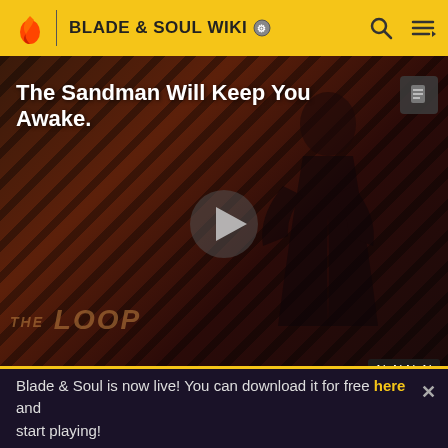BLADE & SOUL WIKI
[Figure (screenshot): Video player showing 'The Sandman Will Keep You Awake.' with a dark figure on a red/black striped background. A play button triangle is centered. 'THE LOOP' text appears at the bottom. Time display shows NaN:NaN.]
|  | Wind Focus training, pierces parry, st |
Blade & Soul is now live! You can download it for free here and start playing!